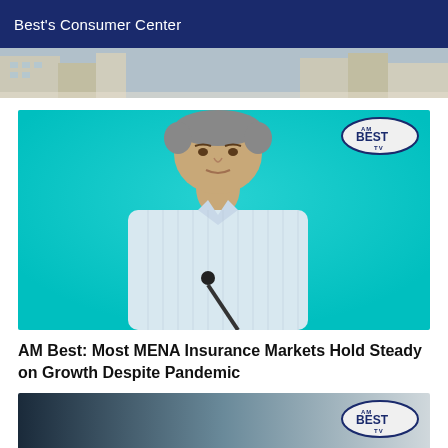Best's Consumer Center
[Figure (photo): Architectural building photo strip]
[Figure (screenshot): Video thumbnail showing a man in a light blue shirt speaking at a podium with a microphone, on a cyan background, with AM Best TV logo in top right corner]
AM Best: Most MENA Insurance Markets Hold Steady on Growth Despite Pandemic
[Figure (screenshot): Partial video thumbnail showing dark to light gradient background with AM Best TV logo in top right corner]